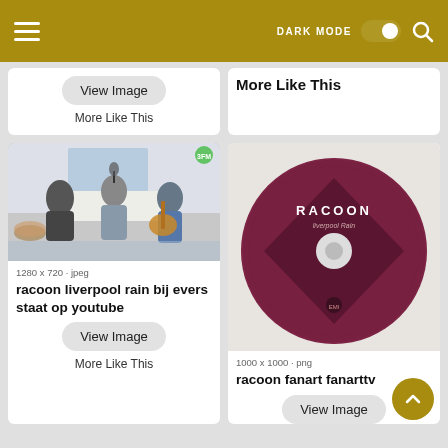DARK MODE [toggle] [search]
View Image
More Like This
More Like This
[Figure (photo): Musicians performing in a studio, one singing at a microphone, another playing acoustic guitar]
1280 x 720 · jpeg
racoon liverpool rain bij evers staat op youtube
View Image
More Like This
[Figure (photo): Racoon Liverpool Rain CD disc with dark maroon/burgundy color and diamond shape design, labeled RACOON Liverpool Rain]
1000 x 1000 · png
racoon fanart fanarttv
View Image